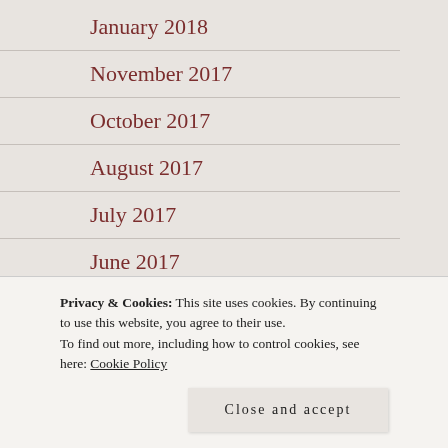January 2018
November 2017
October 2017
August 2017
July 2017
June 2017
May 2017
December 2016
November 2016
Privacy & Cookies: This site uses cookies. By continuing to use this website, you agree to their use.
To find out more, including how to control cookies, see here: Cookie Policy
Close and accept